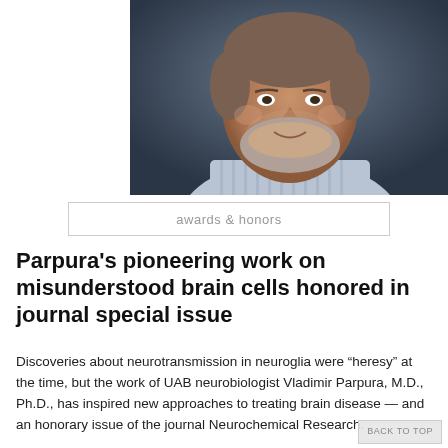[Figure (photo): Portrait photograph of a middle-aged man with grey beard and hair, smiling, wearing a striped shirt, against a dark blue-grey background.]
awards & honors
Parpura's pioneering work on misunderstood brain cells honored in journal special issue
Discoveries about neurotransmission in neuroglia were “heresy” at the time, but the work of UAB neurobiologist Vladimir Parpura, M.D., Ph.D., has inspired new approaches to treating brain disease — and an honorary issue of the journal Neurochemical Research.